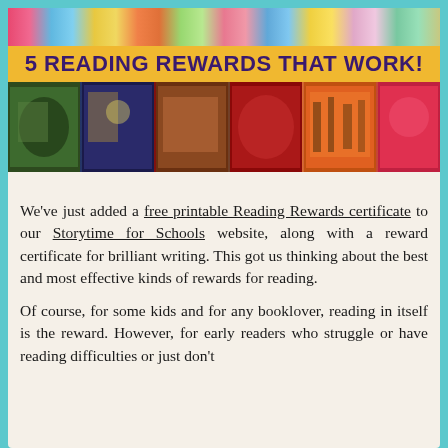[Figure (illustration): Colorful collage of children's book covers and illustrated characters at the top, with a yellow/gold banner reading '5 READING REWARDS THAT WORK!' and a strip of book cover images below it.]
We’ve just added a free printable Reading Rewards certificate to our Storytime for Schools website, along with a reward certificate for brilliant writing. This got us thinking about the best and most effective kinds of rewards for reading.
Of course, for some kids and for any booklover, reading in itself is the reward. However, for early readers who struggle or have reading difficulties or just don’t